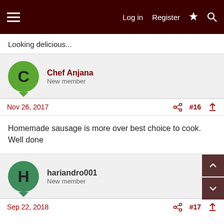Log in  Register
Looking delicious...
Chef Anjana
New member
Nov 26, 2017  #16
Homemade sausage is more over best choice to cook. Well done
hariandro001
New member
Sep 22, 2018  #17